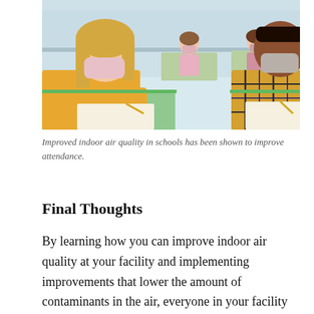[Figure (photo): Classroom photo showing students wearing face masks working at desks, with a girl in a yellow sweater in the foreground and a boy in a plaid shirt on the right.]
Improved indoor air quality in schools has been shown to improve attendance.
Final Thoughts
By learning how you can improve indoor air quality at your facility and implementing improvements that lower the amount of contaminants in the air, everyone in your facility will be more comfortable.